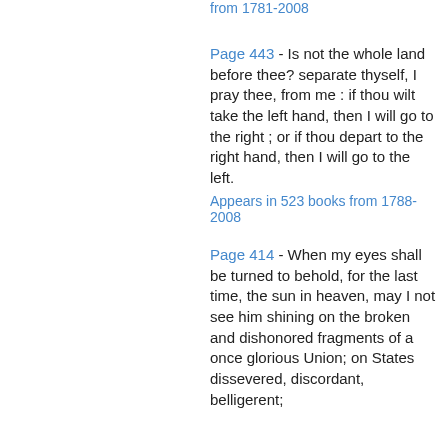Appears in ... books from 1781-2008
Page 443 - Is not the whole land before thee? separate thyself, I pray thee, from me : if thou wilt take the left hand, then I will go to the right ; or if thou depart to the right hand, then I will go to the left.
Appears in 523 books from 1788-2008
Page 414 - When my eyes shall be turned to behold, for the last time, the sun in heaven, may I not see him shining on the broken and dishonored fragments of a once glorious Union; on States dissevered, discordant, belligerent;